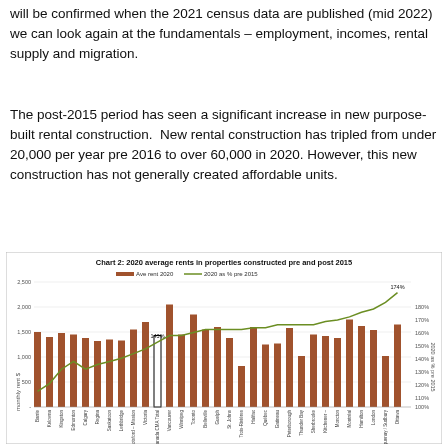will be confirmed when the 2021 census data are published (mid 2022) we can look again at the fundamentals – employment, incomes, rental supply and migration.
The post-2015 period has seen a significant increase in new purpose-built rental construction. New rental construction has tripled from under 20,000 per year pre 2016 to over 60,000 in 2020. However, this new construction has not generally created affordable units.
[Figure (grouped-bar-chart): Chart 2: 2020 average rents in properties constructed pre and post 2015]